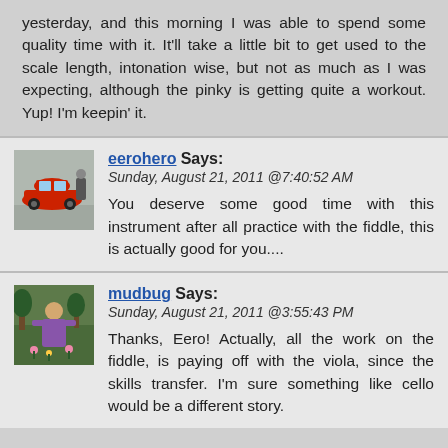yesterday, and this morning I was able to spend some quality time with it. It'll take a little bit to get used to the scale length, intonation wise, but not as much as I was expecting, although the pinky is getting quite a workout. Yup! I'm keepin' it.
eerohero Says:
Sunday, August 21, 2011 @7:40:52 AM

You deserve some good time with this instrument after all practice with the fiddle, this is actually good for you....
mudbug Says:
Sunday, August 21, 2011 @3:55:43 PM

Thanks, Eero! Actually, all the work on the fiddle, is paying off with the viola, since the skills transfer. I'm sure something like cello would be a different story.